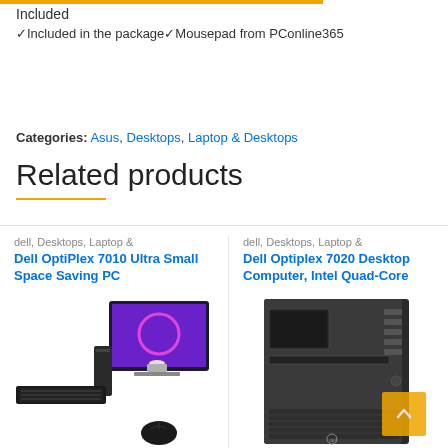Included
✓Included in the package✓Mousepad from PConline365
Categories: Asus, Desktops, Laptop & Desktops
Related products
dell, Desktops, Laptop &
Dell OptiPlex 7010 Ultra Small Space Saving PC
[Figure (photo): Dell OptiPlex 7010 Ultra Small Space Saving PC with monitor, keyboard, and mouse]
dell, Desktops, Laptop &
Dell Optiplex 7020 Desktop Computer, Intel Quad-Core
[Figure (photo): Dell Optiplex 7020 Desktop Computer tower unit]